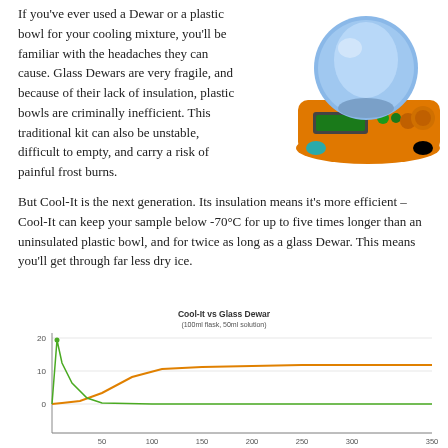If you've ever used a Dewar or a plastic bowl for your cooling mixture, you'll be familiar with the headaches they can cause. Glass Dewars are very fragile, and because of their lack of insulation, plastic bowls are criminally inefficient. This traditional kit can also be unstable, difficult to empty, and carry a risk of painful frost burns.
[Figure (photo): Photo of Cool-It device: a round blue flask/bowl sitting on an orange electronic hot plate/stirrer with a digital display]
But Cool-It is the next generation. Its insulation means it's more efficient – Cool-It can keep your sample below -70°C for up to five times longer than an uninsulated plastic bowl, and for twice as long as a glass Dewar. This means you'll get through far less dry ice.
[Figure (line-chart): Line chart titled 'Cool-It vs Glass Dewar (100ml flask, 50ml solution)' showing temperature over time. Y-axis shows values from approximately -10 to 20. X-axis shows time (0 to 350). Two lines: green (Glass Dewar) rises sharply then levels off near 0, orange (Cool-It) rises slowly and plateaus around 10-12.]